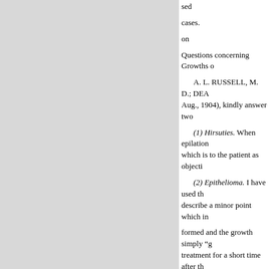sed
cases.
on
Questions concerning Growths o
A. L. RUSSELL, M. D.; DEA Aug., 1904), kindly answer two
(1) Hirsuties. When epilation which is to the patient as objecti
(2) Epithelioma. I have used th describe a minor point which in
formed and the growth simply "g treatment for a short time after th definit time can be stated as requ gained by applying the acid often soreness is manifest; some skins daily. Now, brother surgeon, wo
is covered with lint and left in po
How do you manage to retain yo easy matter to fasten a dressing o nasi, or on the outer canthus of t dealing with this matter would b